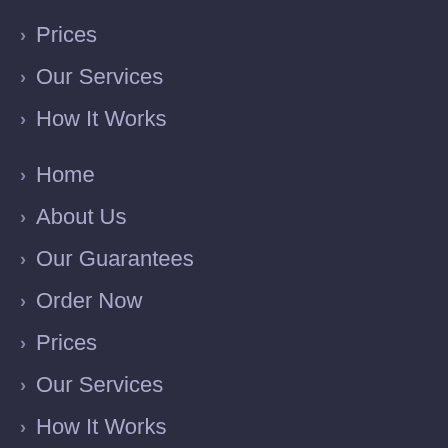› Prices
› Our Services
› How It Works
› Home
› About Us
› Our Guarantees
› Order Now
› Prices
› Our Services
› How It Works
› Home
› About Us